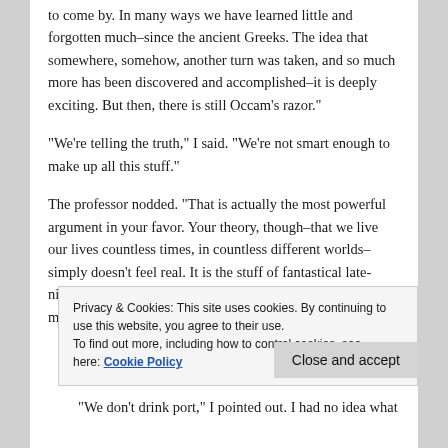to come by. In many ways we have learned little and forgotten much–since the ancient Greeks. The idea that somewhere, somehow, another turn was taken, and so much more has been discovered and accomplished–it is deeply exciting. But then, there is still Occam’s razor.”
“We’re telling the truth,” I said. “We’re not smart enough to make up all this stuff.”
The professor nodded. “That is actually the most powerful argument in your favor. Your theory, though–that we live our lives countless times, in countless different worlds–simply doesn’t feel real. It is the stuff of fantastical late-night conversations in college common rooms, after too many glasses of port. Lieutenant Carmody wants
Privacy & Cookies: This site uses cookies. By continuing to use this website, you agree to their use.
To find out more, including how to control cookies, see here: Cookie Policy
“We don’t drink port,” I pointed out. I had no idea what